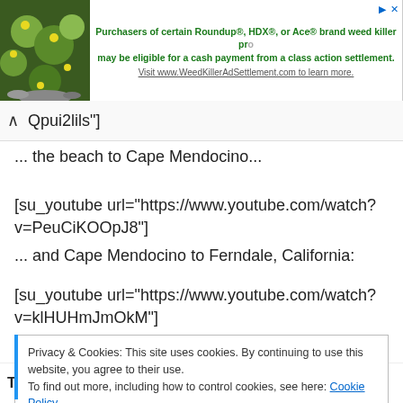[Figure (illustration): Ad banner with plant/flower photo on left and green promotional text on right for WeedKillerAdSettlement.com]
Qpui2lils"]
... the beach to Cape Mendocino...
[su_youtube url="https://www.youtube.com/watch?v=PeuCiKOOpJ8"]
... and Cape Mendocino to Ferndale, California:
[su_youtube url="https://www.youtube.com/watch?v=klHUHmJmOkM"]
Privacy & Cookies: This site uses cookies. By continuing to use this website, you agree to their use. To find out more, including how to control cookies, see here: Cookie Policy
Close and accept
Tags: ca1 california cape mendocino